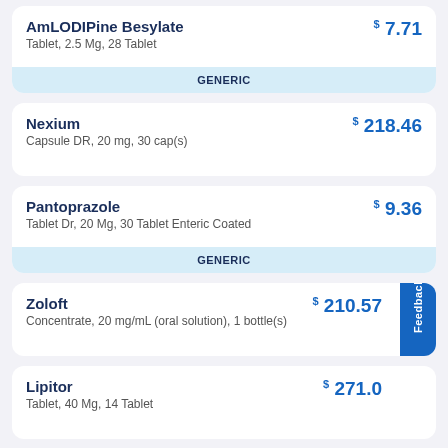AmLODIPine Besylate — $7.71 — Tablet, 2.5 Mg, 28 Tablet — GENERIC
Nexium — $218.46 — Capsule DR, 20 mg, 30 cap(s)
Pantoprazole — $9.36 — Tablet Dr, 20 Mg, 30 Tablet Enteric Coated — GENERIC
Zoloft — $210.57 — Concentrate, 20 mg/mL (oral solution), 1 bottle(s)
Lipitor — $271.0 — Tablet, 40 Mg, 14 Tablet